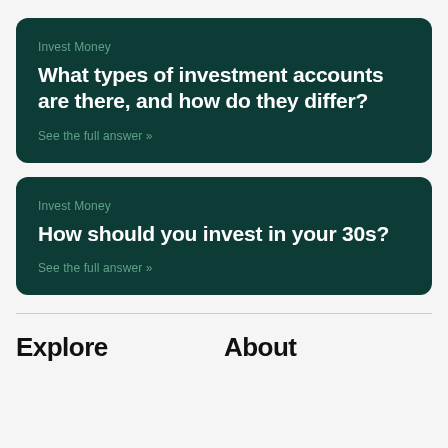Invest Money
What types of investment accounts are there, and how do they differ?
See the full answer »
Invest Money
How should you invest in your 30s?
See the full answer »
Explore
About